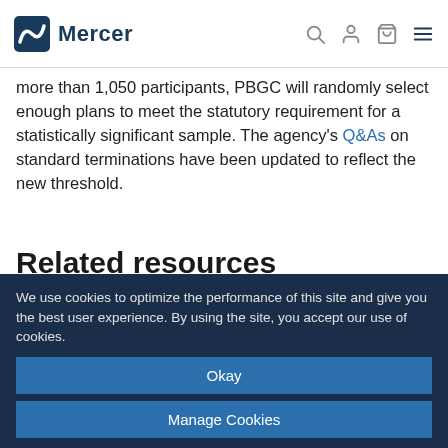Mercer
more than 1,050 participants, PBGC will randomly select enough plans to meet the statutory requirement for a statistically significant sample. The agency's Q&As on standard terminations have been updated to reflect the new threshold.
Related resources
Intersector Group notes from February meeting (American Academy of Actuaries, March 25, 2022)
Standard terminations: Q&A (PBGC)
We use cookies to optimize the performance of this site and give you the best user experience. By using the site, you accept our use of cookies.